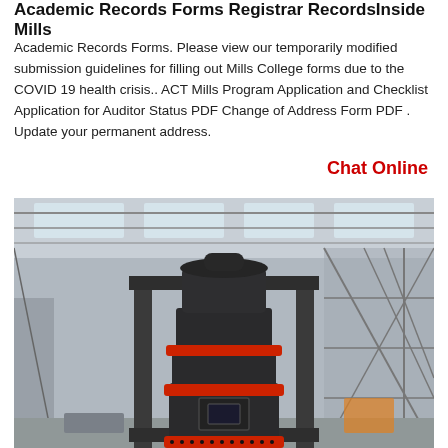Academic Records Forms Registrar RecordsInside Mills
Academic Records Forms. Please view our temporarily modified submission guidelines for filling out Mills College forms due to the COVID 19 health crisis.. ACT Mills Program Application and Checklist Application for Auditor Status PDF Change of Address Form PDF . Update your permanent address.
Chat Online
[Figure (photo): Industrial vertical mill machine with red and black cylindrical body, inside a large industrial warehouse/factory building with steel frame structure and skylights.]